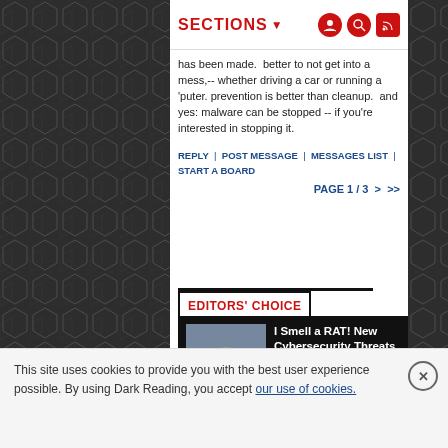SECTIONS ▾
has been made.  better to not get into a mess,-- whether driving a car or running a 'puter. prevention is better than cleanup.  and yes: malware can be stopped -- if you're interested in stopping it.
REPLY  |  POST MESSAGE  |  MESSAGES LIST  |  START A BOARD
PAGE 1 / 3  >  >>
EDITORS' CHOICE
[Figure (photo): Headshot of David Trepp, a bald man in a white shirt and dark tie]
I Smell a RAT! New Cybersecurity Threats for the Crypto Industry
David Trepp, Partner, IT Assurance with accounting and advisory firm BPM LLP, 7/9/2021
This site uses cookies to provide you with the best user experience possible. By using Dark Reading, you accept our use of cookies.